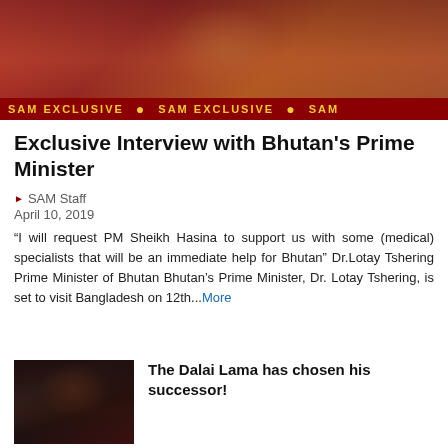[Figure (photo): Photo of Bhutan's Prime Minister in traditional dress, with a red SAM EXCLUSIVE banner at the bottom]
Exclusive Interview with Bhutan's Prime Minister
SAM Staff
April 10, 2019
“I will request PM Sheikh Hasina to support us with some (medical) specialists that will be an immediate help for Bhutan” Dr.Lotay Tshering Prime Minister of Bhutan Bhutan’s Prime Minister, Dr. Lotay Tshering, is set to visit Bangladesh on 12th...More
[Figure (photo): Photo of the Dalai Lama in dark clothing, appearing to bow or pray]
The Dalai Lama has chosen his successor!